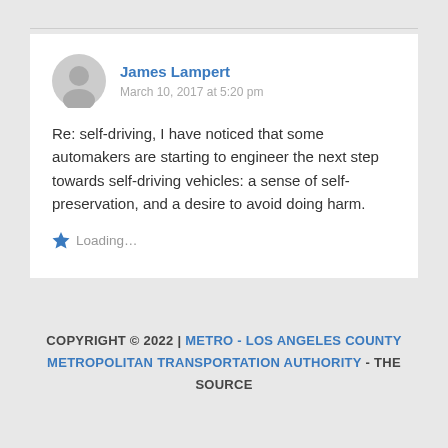James Lampert
March 10, 2017 at 5:20 pm
Re: self-driving, I have noticed that some automakers are starting to engineer the next step towards self-driving vehicles: a sense of self-preservation, and a desire to avoid doing harm.
Loading...
COPYRIGHT © 2022 | METRO - LOS ANGELES COUNTY METROPOLITAN TRANSPORTATION AUTHORITY - THE SOURCE